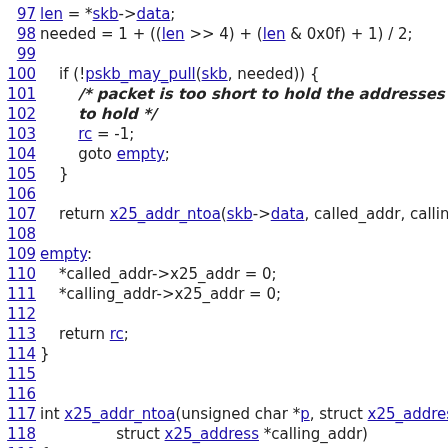97  len = *skb->data;
98  needed = 1 + ((len >> 4) + (len & 0x0f) + 1) / 2;
99
100  if (!pskb_may_pull(skb, needed)) {
101  /* packet is too short to hold the addresses i
102  to hold */
103  rc = -1;
104  goto empty;
105  }
106
107  return x25_addr_ntoa(skb->data, called_addr, calling
108
109 empty:
110  *called_addr->x25_addr = 0;
111  *calling_addr->x25_addr = 0;
112
113  return rc;
114 }
115
116
117 int x25_addr_ntoa(unsigned char *p, struct x25_address *
118  struct x25_address *calling_addr)
119 {
120  unsigned int called_len, calling_len;
121  char *called, *calling;